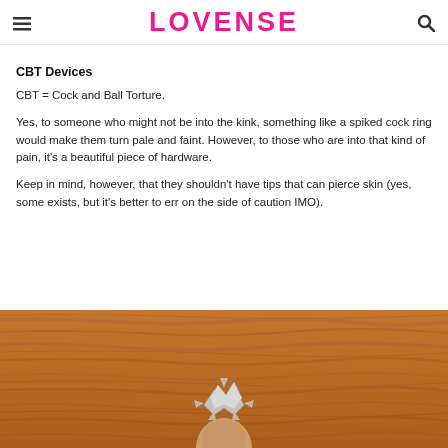LOVENSE
CBT Devices
CBT = Cock and Ball Torture.
Yes, to someone who might not be into the kink, something like a spiked cock ring would make them turn pale and faint. However, to those who are into that kind of pain, it's a beautiful piece of hardware.
Keep in mind, however, that they shouldn't have tips that can pierce skin (yes, some exists, but it's better to err on the side of caution IMO).
[Figure (photo): A close-up photo of a hand holding a spiked/studded metal cock ring device against a wooden background.]